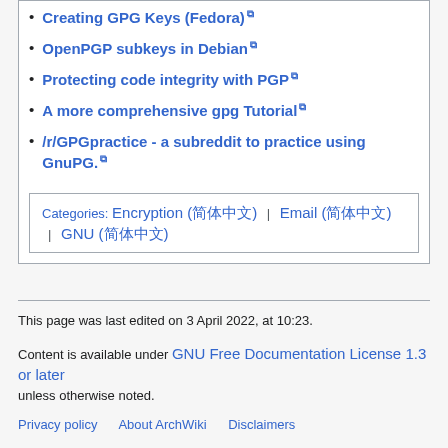Creating GPG Keys (Fedora)
OpenPGP subkeys in Debian
Protecting code integrity with PGP
A more comprehensive gpg Tutorial
/r/GPGpractice - a subreddit to practice using GnuPG.
Categories: Encryption (简体中文) | Email (简体中文) | GNU (简体中文)
This page was last edited on 3 April 2022, at 10:23.
Content is available under GNU Free Documentation License 1.3 or later unless otherwise noted.
Privacy policy   About ArchWiki   Disclaimers